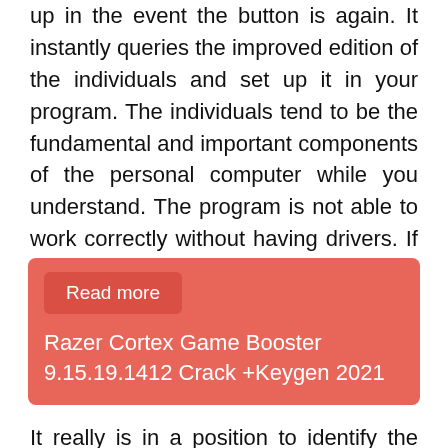up in the event the button is again. It instantly queries the improved edition of the individuals and set up it in your program. The individuals tend to be the fundamental and important components of the personal computer while you understand. The program is not able to work correctly without having drivers. If the pc has dropped the documents of motorists or getting a hardware problem. It furthermore offers the choices to accomplish this by hand.
[Figure (infographic): A salmon/coral colored card with a darker red 'Read more' button and text: 'Razer Cortex Game Booster 9.15.19.1412 Crack +Keygen 2021']
It really is in a position to identify the drivers